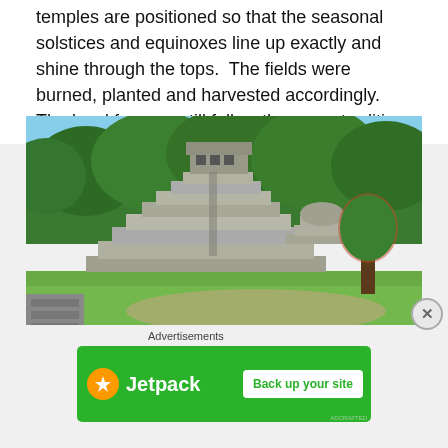temples are positioned so that the seasonal solstices and equinoxes line up exactly and shine through the tops. The fields were burned, planted and harvested accordingly. The local farmers still follow the same tradition.
[Figure (photo): Photograph of a Mayan step pyramid (possibly Palenque) surrounded by dense green jungle trees under a clear blue sky, with a grassy plaza in the foreground and stone ruins in the lower left.]
Advertisements
[Figure (other): Jetpack advertisement banner with green background, Jetpack logo on left (orange circle with lightning bolt icon) and 'Back up your site' button on the right.]